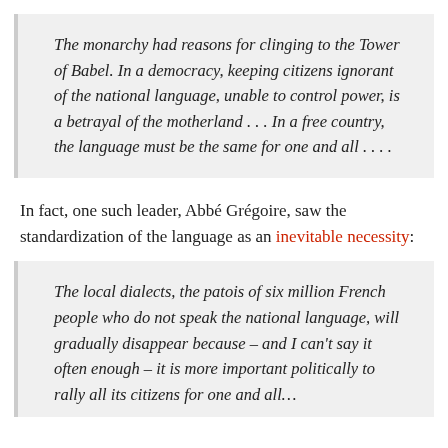The monarchy had reasons for clinging to the Tower of Babel. In a democracy, keeping citizens ignorant of the national language, unable to control power, is a betrayal of the motherland . . . In a free country, the language must be the same for one and all . . . .
In fact, one such leader, Abbé Grégoire, saw the standardization of the language as an inevitable necessity:
The local dialects, the patois of six million French people who do not speak the national language, will gradually disappear because – and I can't say it often enough – it is more important politically to rally all its citizens for one and all...